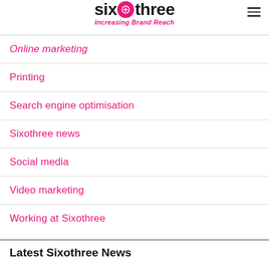sixothree — Increasing Brand Reach
Online marketing
Printing
Search engine optimisation
Sixothree news
Social media
Video marketing
Working at Sixothree
Latest Sixothree News